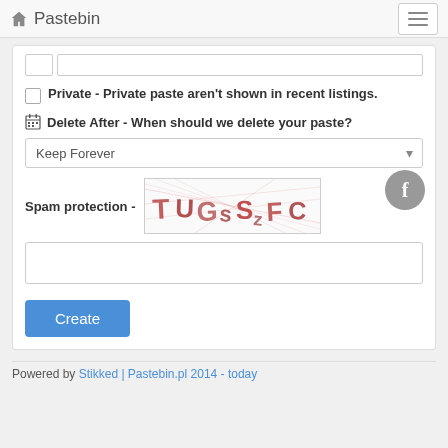🏠 Pastebin
Private - Private paste aren't shown in recent listings.
🗓 Delete After - When should we delete your paste?
Keep Forever
Spam protection -
[Figure (other): CAPTCHA image showing distorted text 'TUGsS zFC' in red/pink letters on white background with line noise]
Create
Powered by Stikked | Pastebin.pl 2014 - today